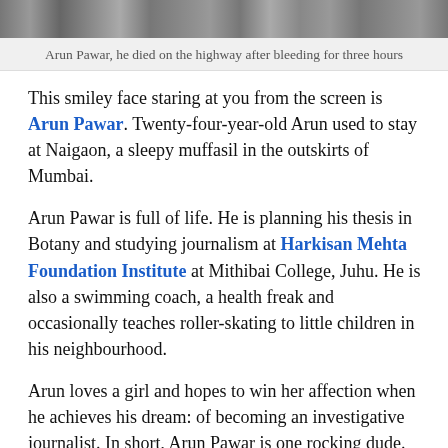[Figure (photo): Partial photograph of Arun Pawar at the top of the page, cropped showing only a strip.]
Arun Pawar, he died on the highway after bleeding for three hours
This smiley face staring at you from the screen is Arun Pawar. Twenty-four-year-old Arun used to stay at Naigaon, a sleepy muffasil in the outskirts of Mumbai.
Arun Pawar is full of life. He is planning his thesis in Botany and studying journalism at Harkisan Mehta Foundation Institute at Mithibai College, Juhu. He is also a swimming coach, a health freak and occasionally teaches roller-skating to little children in his neighbourhood.
Arun loves a girl and hopes to win her affection when he achieves his dream: of becoming an investigative journalist. In short, Arun Pawar is one rocking dude.